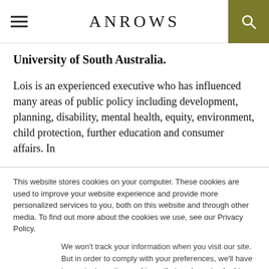ANROWS
University of South Australia.
Lois is an experienced executive who has influenced many areas of public policy including development, planning, disability, mental health, equity, environment, child protection, further education and consumer affairs. In
This website stores cookies on your computer. These cookies are used to improve your website experience and provide more personalized services to you, both on this website and through other media. To find out more about the cookies we use, see our Privacy Policy.
We won't track your information when you visit our site. But in order to comply with your preferences, we'll have to use just one tiny cookie so that you're not asked to make this choice again.